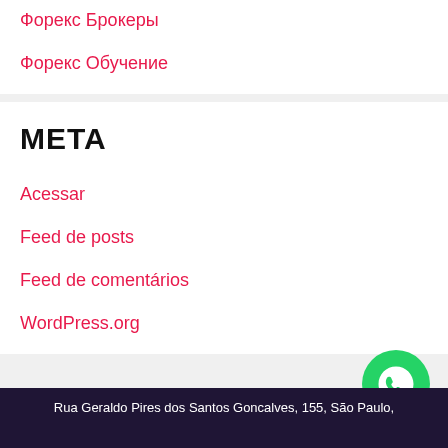Форекс Брокеры
Форекс Обучение
META
Acessar
Feed de posts
Feed de comentários
WordPress.org
Rua Geraldo Pires dos Santos Goncalves, 155, São Paulo,